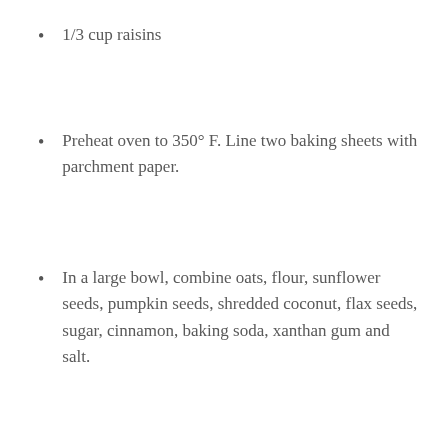1/3 cup raisins
Preheat oven to 350° F. Line two baking sheets with parchment paper.
In a large bowl, combine oats, flour, sunflower seeds, pumpkin seeds, shredded coconut, flax seeds, sugar, cinnamon, baking soda, xanthan gum and salt.